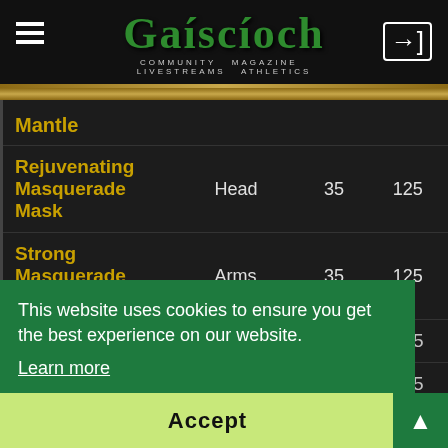Gaíscioch - COMMUNITY MAGAZINE LIVESTREAMS ATHLETICS
| Item | Slot | Lvl | Price |
| --- | --- | --- | --- |
| Mantle |  |  |  |
| Rejuvenating Masquerade Mask | Head | 35 | 125 |
| Strong Masquerade Gloves | Arms | 35 | 125 |
| [partial row] |  | 35? | 125 |
| [partial row] |  | 35? | 125 |
| Vigorous Masquerade ... | Shoulders | 35 | 125 |
This website uses cookies to ensure you get the best experience on our website. Learn more
Accept